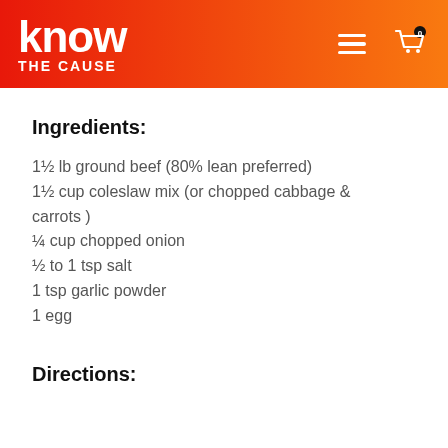know THE CAUSE
Ingredients:
1½ lb ground beef (80% lean preferred)
1½ cup coleslaw mix (or chopped cabbage & carrots )
¼ cup chopped onion
½ to 1 tsp salt
1 tsp garlic powder
1 egg
Directions: